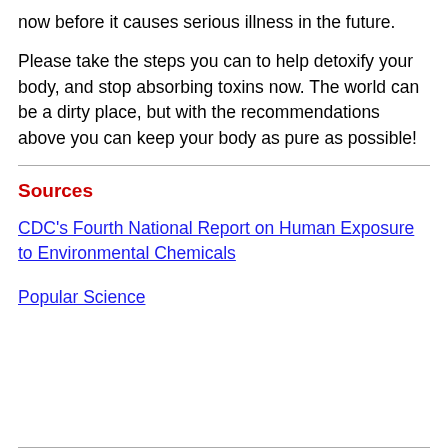now before it causes serious illness in the future.
Please take the steps you can to help detoxify your body, and stop absorbing toxins now. The world can be a dirty place, but with the recommendations above you can keep your body as pure as possible!
Sources
CDC's Fourth National Report on Human Exposure to Environmental Chemicals
Popular Science